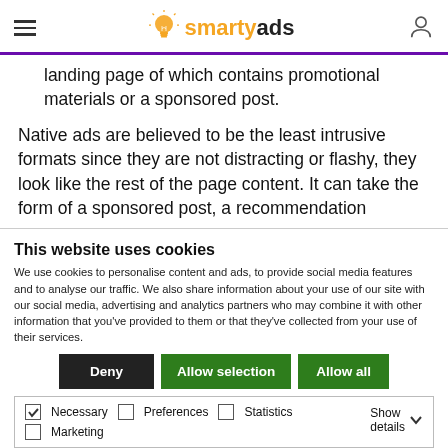smartyads (logo with lightbulb)
landing page of which contains promotional materials or a sponsored post.
Native ads are believed to be the least intrusive formats since they are not distracting or flashy, they look like the rest of the page content. It can take the form of a sponsored post, a recommendation
This website uses cookies
We use cookies to personalise content and ads, to provide social media features and to analyse our traffic. We also share information about your use of our site with our social media, advertising and analytics partners who may combine it with other information that you've provided to them or that they've collected from your use of their services.
Deny | Allow selection | Allow all
Necessary  Preferences  Statistics  Marketing  Show details